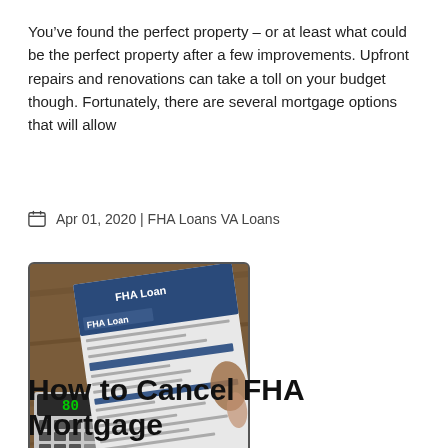You've found the perfect property – or at least what could be the perfect property after a few improvements. Upfront repairs and renovations can take a toll on your budget though. Fortunately, there are several mortgage options that will allow
Apr 01, 2020 | FHA Loans VA Loans
[Figure (photo): Photo of an FHA Loan form document being held and filled out, with a calculator visible in the lower left corner. The form has a dark blue header reading 'FHA Loan' and a section labeled 'FHA Loan' in bold white text.]
How to Cancel FHA Mortgage